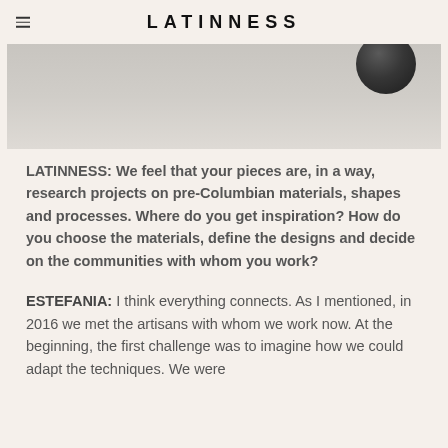LATINNESS
[Figure (photo): Partial top view of a ceramic or stone object on a grey surface]
LATINNESS: We feel that your pieces are, in a way, research projects on pre-Columbian materials, shapes and processes. Where do you get inspiration? How do you choose the materials, define the designs and decide on the communities with whom you work?
ESTEFANIA: I think everything connects. As I mentioned, in 2016 we met the artisans with whom we work now. At the beginning, the first challenge was to imagine how we could adapt the techniques. We were